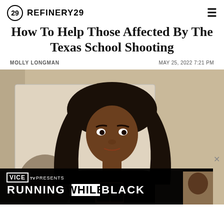REFINERY29
How To Help Those Affected By The Texas School Shooting
MOLLY LONGMAN    MAY 25, 2022 7:21 PM
[Figure (photo): A young Black woman with long straight hair, wearing a black t-shirt, holding a phone, photographed in a mirror selfie in a beige-walled room. Overlaid at the bottom is a VICE TV ad banner reading 'VICE TV PRESENTS RUNNING WHILE BLACK' with a thumbnail of a man's face.]